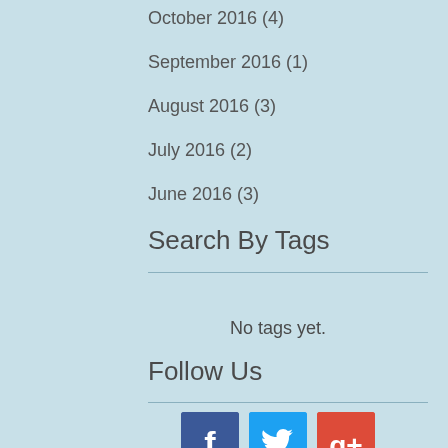October 2016 (4)
September 2016 (1)
August 2016 (3)
July 2016 (2)
June 2016 (3)
Search By Tags
No tags yet.
Follow Us
[Figure (other): Social media icons: Facebook (blue), Twitter (light blue), Google+ (red)]